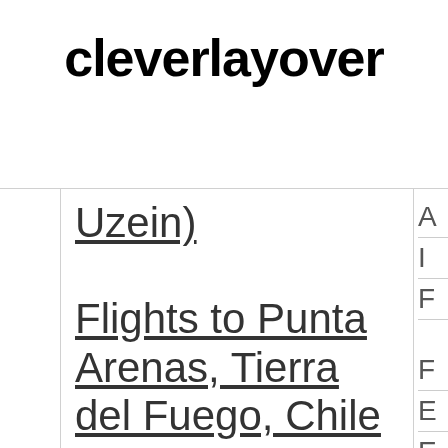cleverlayover
Uzein)
Flights to Punta Arenas, Tierra del Fuego, Chile